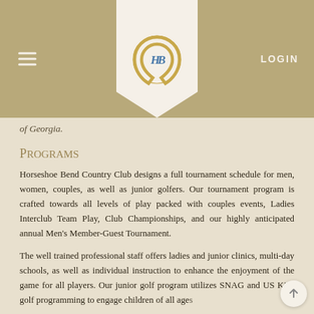Horseshoe Bend Country Club — navigation header with logo, hamburger menu, and LOGIN
of Georgia.
Programs
Horseshoe Bend Country Club designs a full tournament schedule for men, women, couples, as well as junior golfers. Our tournament program is crafted towards all levels of play packed with couples events, Ladies Interclub Team Play, Club Championships, and our highly anticipated annual Men's Member-Guest Tournament.
The well trained professional staff offers ladies and junior clinics, multi-day schools, as well as individual instruction to enhance the enjoyment of the game for all players. Our junior golf program utilizes SNAG and US Kids golf programming to engage children of all ages.
Our dedicated staff of Golf Professionals and Event Management work together to host private outings and tournaments. Please contact us for more information at our private invitation table...